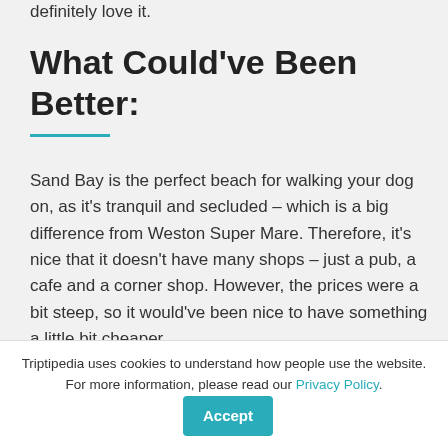definitely love it.
What Could've Been Better:
Sand Bay is the perfect beach for walking your dog on, as it's tranquil and secluded – which is a big difference from Weston Super Mare. Therefore, it's nice that it doesn't have many shops – just a pub, a cafe and a corner shop. However, the prices were a bit steep, so it would've been nice to have something a little bit cheaper.
The parking also could've been better, with the Beach Road car park open. However, like previously stated – it may have only been closed
Triptipedia uses cookies to understand how people use the website. For more information, please read our Privacy Policy.